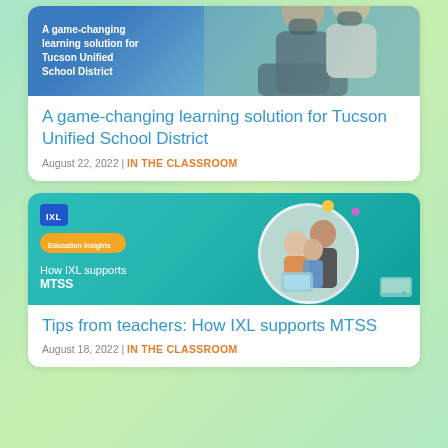[Figure (photo): Card with photo of students wearing masks using a laptop, with text overlay 'A game-changing learning solution for Tucson Unified School District']
A game-changing learning solution for Tucson Unified School District
August 22, 2022 | IN THE CLASSROOM
[Figure (photo): Card with IXL branded teal/green image showing 'How IXL supports MTSS' with a photo of a teacher and two children looking at a tablet]
Tips from teachers: How IXL supports MTSS
August 18, 2022 | IN THE CLASSROOM